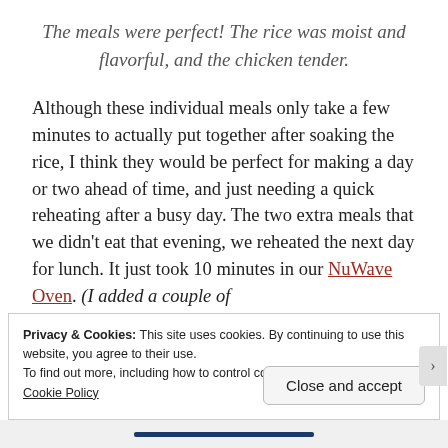The meals were perfect! The rice was moist and flavorful, and the chicken tender.
Although these individual meals only take a few minutes to actually put together after soaking the rice, I think they would be perfect for making a day or two ahead of time, and just needing a quick reheating after a busy day. The two extra meals that we didn't eat that evening, we reheated the next day for lunch. It just took 10 minutes in our NuWave Oven. (I added a couple of
Privacy & Cookies: This site uses cookies. By continuing to use this website, you agree to their use.
To find out more, including how to control cookies, see here:
Cookie Policy
Close and accept